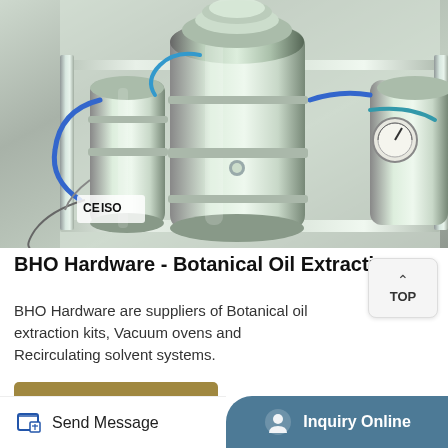[Figure (photo): Close-up photograph of stainless steel botanical oil extraction equipment with blue tubing, clamps, gauges and metal framework. CE and ISO certification marks visible on lower left.]
BHO Hardware - Botanical Oil Extractio
BHO Hardware are suppliers of Botanical oil extraction kits, Vacuum ovens and Recirculating solvent systems.
Learn More
Send Message   Inquiry Online